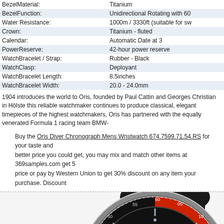| BezelMaterial: | Titanium |
| BezelFunction: | Unidirectional Rotating with 60 |
| Water Resistance: | 1000m / 3330ft (suitable for sw |
| Crown: | Titanium - fluted |
| Calendar: | Automatic Date at 3 |
| PowerReserve: | 42-hour power reserve |
| WatchBracelet / Strap: | Rubber - Black |
| WatchClasp: | Deployant |
| WatchBracelet Length: | 8.5inches |
| WatchBracelet Width: | 20.0 - 24.0mm |
1904 introduces the world to Oris, founded by Paul Cattin and Georges Christian in Hölste this reliable watchmaker continues to produce classical, elegant timepieces of the highest watchmakers, Oris has partnered with the equally venerated Formula 1 racing team BMW-
Buy the Oris Diver Chronograph Mens Wristwatch 674.7599.71.54.RS for your taste and better price you could get, you may mix and match other items at 369samples.com get 5 price or pay by Western Union to get 30% discount on any item your purchase. Discount
[Figure (photo): Photo of an Oris Diver Chronograph wristwatch with black dial, red and black bezel, and black rubber strap, viewed from a high angle]